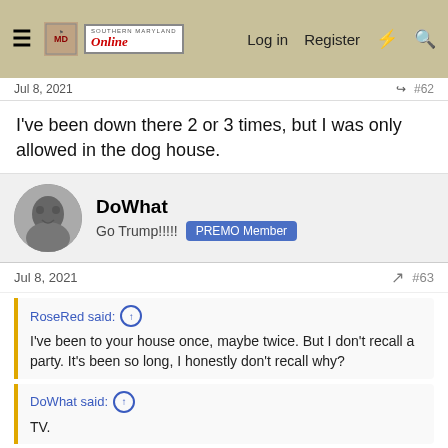Southern Maryland Online — Log in  Register
Jul 8, 2021   #62
I've been down there 2 or 3 times, but I was only allowed in the dog house.
DoWhat
Go Trump!!!!!  PREMO Member
Jul 8, 2021   #63
RoseRed said: ↑
I've been to your house once, maybe twice. But I don't recall a party. It's been so long, I honestly don't recall why?
DoWhat said: ↑
TV.
TV and VCR?
That is how old we are.